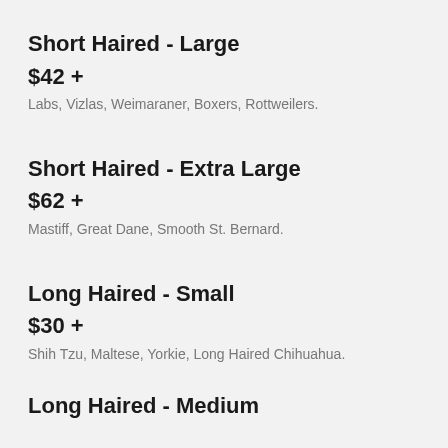Short Haired - Large
$42 +
Labs, Vizlas, Weimaraner, Boxers, Rottweilers.
Short Haired - Extra Large
$62 +
Mastiff, Great Dane, Smooth St. Bernard.
Long Haired - Small
$30 +
Shih Tzu, Maltese, Yorkie, Long Haired Chihuahua.
Long Haired - Medium